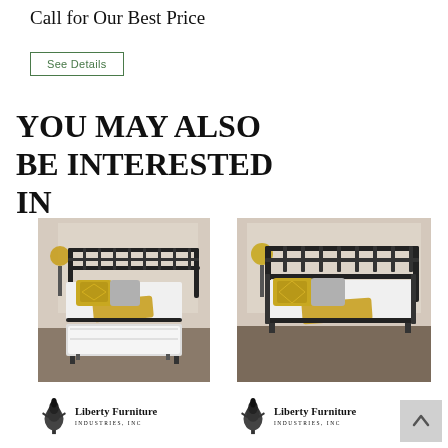Call for Our Best Price
See Details
YOU MAY ALSO BE INTERESTED IN
[Figure (photo): Metal daybed with trundle, black frame, yellow pillow and throw blanket, white bedding, room setting with lamp]
[Figure (photo): Metal daybed (no trundle shown), black frame, yellow pillow and throw blanket, white bedding, room setting with lamp]
[Figure (logo): Liberty Furniture Industries logo - left product]
[Figure (logo): Liberty Furniture Industries logo - right product]